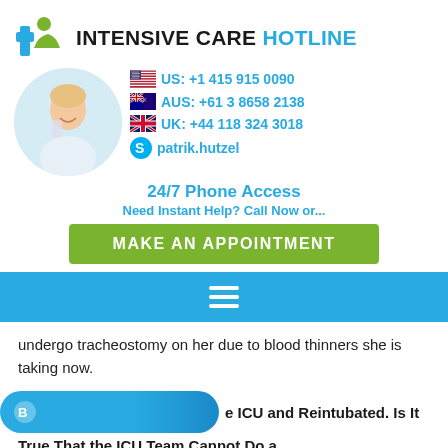[Figure (logo): Intensive Care Hotline logo with blue cross and green person icon]
INTENSIVE CARE HOTLINE
[Figure (photo): Photo of a smiling woman holding a phone, circular crop]
US: +1 415 915 0090
AUS: +61 3 8658 2138
UK: +44 118 324 3018
patrik.hutzel
24/7 Phone Access
Need Instant Help? Call Now or...
MAKE AN APPOINTMENT
undergo tracheostomy on her due to blood thinners she is taking now.
e ICU and Reintubated. Is It True That the ICU Team Cannot Do a Tracheostomy Because She is on Blood Thinners?